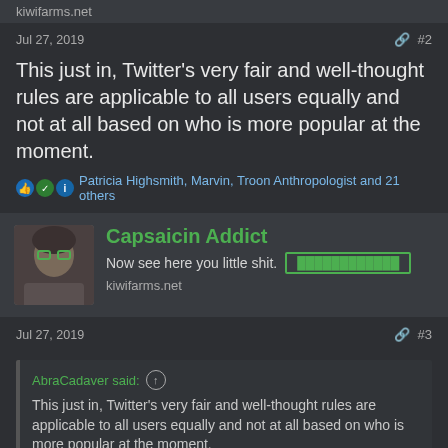kiwifarms.net
Jul 27, 2019   #2
This just in, Twitter's very fair and well-thought rules are applicable to all users equally and not at all based on who is more popular at the moment.
Patricia Highsmith, Marvin, Troon Anthropologist and 21 others
Capsaicin Addict
Now see here you little shit.   kiwifarms.net
Jul 27, 2019   #3
AbraCadaver said:
This just in, Twitter's very fair and well-thought rules are applicable to all users equally and not at all based on who is more popular at the moment.
Or unpopular.